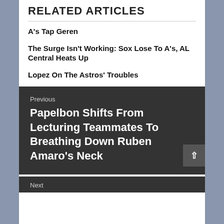RELATED ARTICLES
A's Tap Geren
The Surge Isn't Working: Sox Lose To A's, AL Central Heats Up
Lopez On The Astros' Troubles
Previous
Papelbon Shifts From Lecturing Teammates To Breathing Down Ruben Amaro's Neck